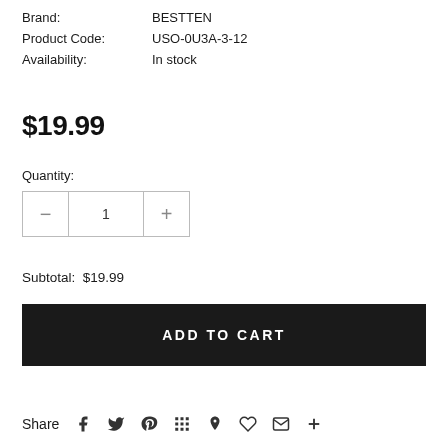Brand: BESTTEN
Product Code: USO-0U3A-3-12
Availability: In stock
$19.99
Quantity:
Subtotal: $19.99
ADD TO CART
Share